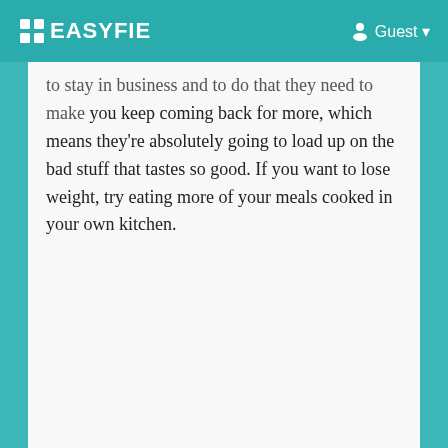EASYFIE | Guest
to stay in business and to do that they need to make you keep coming back for more, which means they're absolutely going to load up on the bad stuff that tastes so good. If you want to lose weight, try eating more of your meals cooked in your own kitchen.